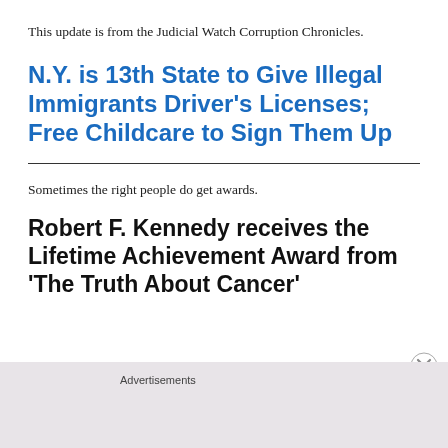This update is from the Judicial Watch Corruption Chronicles.
N.Y. is 13th State to Give Illegal Immigrants Driver's Licenses; Free Childcare to Sign Them Up
Sometimes the right people do get awards.
Robert F. Kennedy receives the Lifetime Achievement Award from 'The Truth About Cancer'
Advertisements